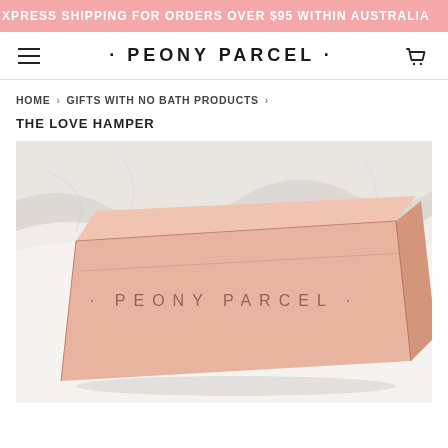XPRESS SHIPPING FOR ORDERS OVER $95 WITHIN AUSTRALIA
· PEONY PARCEL ·
HOME › GIFTS WITH NO BATH PRODUCTS ›
THE LOVE HAMPER
[Figure (photo): A rose gold/pink Peony Parcel branded gift box sitting on white fabric/tissue paper. The box has '· PEONY PARCEL ·' embossed or printed in copper/rose gold lettering on the lid.]